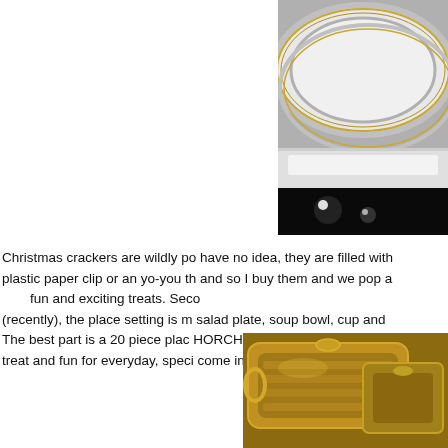[Figure (photo): Photo of white china plates with silver/gold rim detail stacked on a dark surface with lace visible, cropped at right edge of page]
Christmas crackers are wildly po have no idea, they are filled with plastic paper clip or an yo-you th and so I buy them and we pop a fun and exciting treats. Seco (recently), the place setting is m salad plate, soup bowl, cup and The best part is a 20 piece plac HORCHOW. The best part  was treat and fun for everyday, speci come in white with silver and not
[Figure (photo): Photo of ornate gold/bronze decorative serving piece or tureen on a golden background, cropped at bottom right of page]